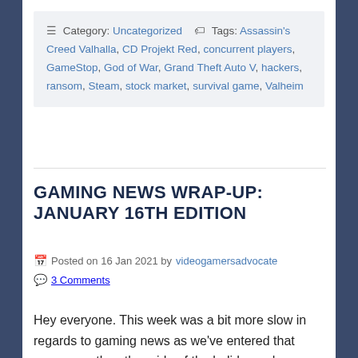Category: Uncategorized  Tags: Assassin's Creed Valhalla, CD Projekt Red, concurrent players, GameStop, God of War, Grand Theft Auto V, hackers, ransom, Steam, stock market, survival game, Valheim
GAMING NEWS WRAP-UP: JANUARY 16TH EDITION
Posted on 16 Jan 2021 by videogamersadvocate
3 Comments
Hey everyone. This week was a bit more slow in regards to gaming news as we've entered that season on the other side of the holidays when things calm down. There still are some stories on the gaming site that will b...